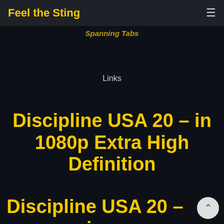Feel the Sting
Spanning Tabs
Links
Discipline USA 20 – in 1080p Extra High Definition
Discipline USA 20 – in